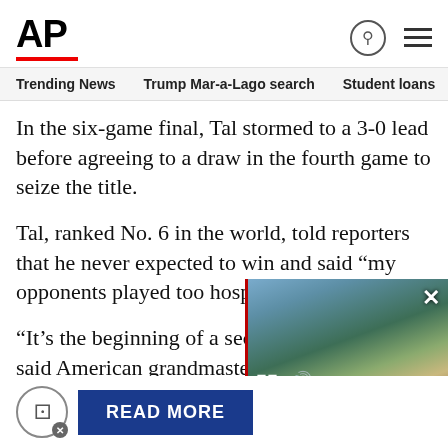AP
Trending News  Trump Mar-a-Lago search  Student loans  U.S
In the six-game final, Tal stormed to a 3-0 lead before agreeing to a draw in the fourth game to seize the title.
Tal, ranked No. 6 in the world, told reporters that he never expected to win and said "my opponents played too hospitably."
"It’s the beginning of a second career for Tal," said American grandmaster Larry Evans.
In 1960, Tal, then 23, became the youngest world chess champion in history until Kasparov broke the record at age 22.
[Figure (screenshot): Video overlay showing aerial photo of Mar-a-Lago estate with video controls (pause and mute buttons), close button, and caption 'US: Review of possibly privileged Trump papers alre...']
READ MORE